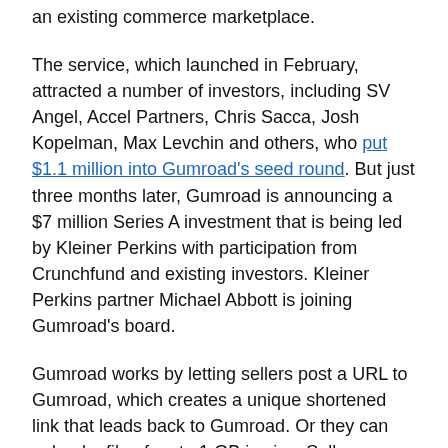an existing commerce marketplace.
The service, which launched in February, attracted a number of investors, including SV Angel, Accel Partners, Chris Sacca, Josh Kopelman, Max Levchin and others, who put $1.1 million into Gumroad's seed round. But just three months later, Gumroad is announcing a $7 million Series A investment that is being led by Kleiner Perkins with participation from Crunchfund and existing investors. Kleiner Perkins partner Michael Abbott is joining Gumroad's board.
Gumroad works by letting sellers post a URL to Gumroad, which creates a unique shortened link that leads back to Gumroad. Or they can upload a file of up to 1 GB in size. Sellers can set their price or leave it open to buyers as to how much over a certain amount they want to pay. Buyers who clicked on the link are presented with a simple product page with a description of the item and a